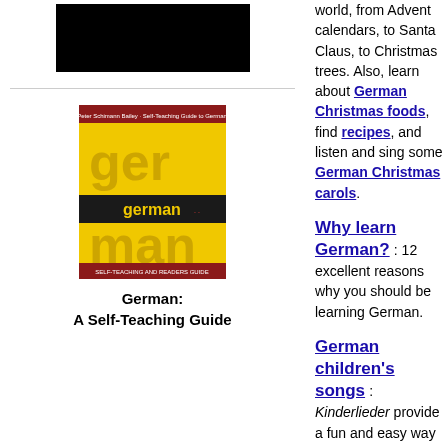[Figure (photo): Black rectangular image at top of left column]
[Figure (photo): Book cover of 'German: A Self-Teaching Guide' — yellow cover with 'german' written in brown/black text]
German:
A Self-Teaching Guide
world, from Advent calendars, to Santa Claus, to Christmas trees. Also, learn about German Christmas foods, find recipes, and listen and sing some German Christmas carols.
Why learn German?
: 12 excellent reasons why you should be learning German.
German children's songs
: Kinderlieder provide a fun and easy way to